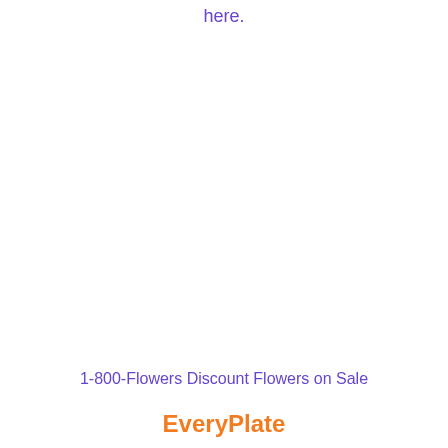here.
1-800-Flowers Discount Flowers on Sale
EveryPlate